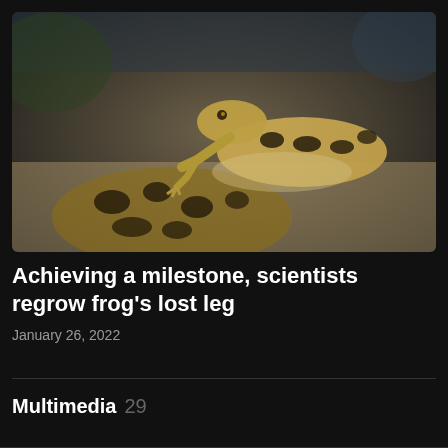[Figure (photo): Two leopard geckos or lizards with yellow and black spotted patterns on sandy ground. One lizard is raised up with its front legs visible and tongue/mouth area visible.]
Achieving a milestone, scientists regrow frog’s lost leg
January 26, 2022
Multimedia 29